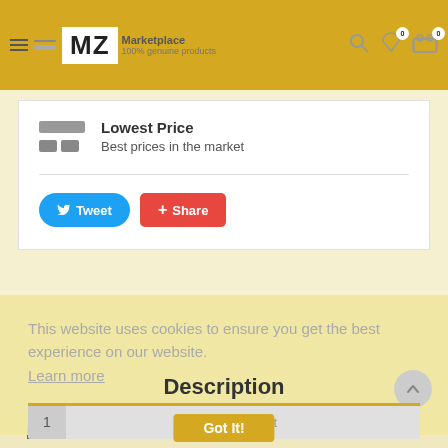MZ Marketplace - 100% genuine products
Lowest Price
Best prices in the market
[Figure (screenshot): Tweet and Share social buttons]
This website uses cookies to ensure you get the best experience on our website. Learn more
Description
1  Add To Cart
Got It!
ELECTRIC ESCUTER